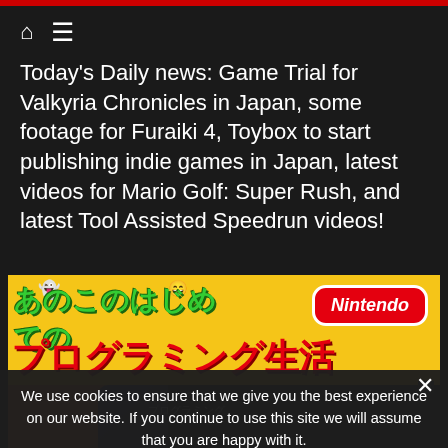Today's Daily news: Game Trial for Valkyria Chronicles in Japan, some footage for Furaiki 4, Toybox to start publishing indie games in Japan, latest videos for Mario Golf: Super Rush, and latest Tool Assisted Speedrun videos!
Read more
[Figure (photo): Nintendo advertisement banner featuring Japanese text (あのこのはじめてのプログラミング生活) on a yellow background with Nintendo logo in red, and people at the bottom]
We use cookies to ensure that we give you the best experience on our website. If you continue to use this site we will assume that you are happy with it.
I understand   Privacy policy